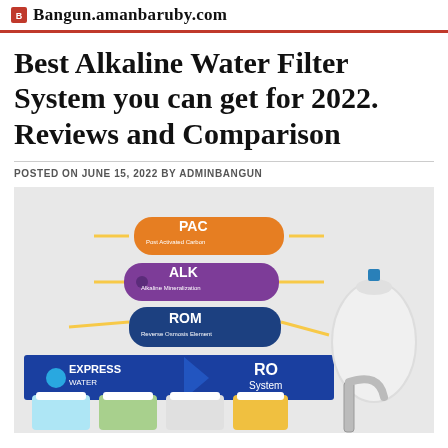Bangun.amanbaruby.com
Best Alkaline Water Filter System you can get for 2022. Reviews and Comparison
POSTED ON JUNE 15, 2022 BY ADMINBANGUN
[Figure (photo): Express Water RO alkaline water filter system with multiple filter cartridges labeled PAC (orange), ALK (purple), ROM (dark blue), mounted on a blue banner reading Express Water RO System, with white filter housings and a chrome faucet visible at the bottom right]